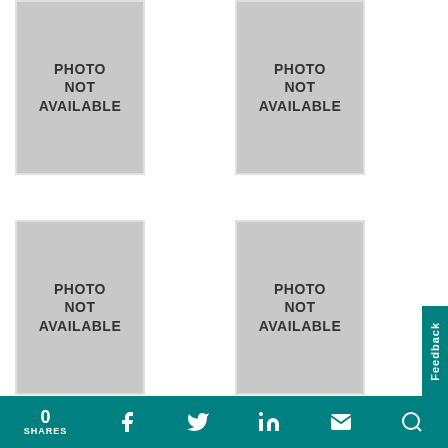[Figure (photo): Photo not available placeholder - top left]
[Figure (photo): Photo not available placeholder - top right]
[Figure (photo): Photo not available placeholder - middle left]
[Figure (photo): Photo not available placeholder - middle right]
[Figure (photo): Photo not available placeholder - bottom left (partial)]
[Figure (photo): Photo not available placeholder - bottom right (partial)]
0 SHARES  [Facebook] [Twitter] [LinkedIn] [Email] [Search]  Feedback